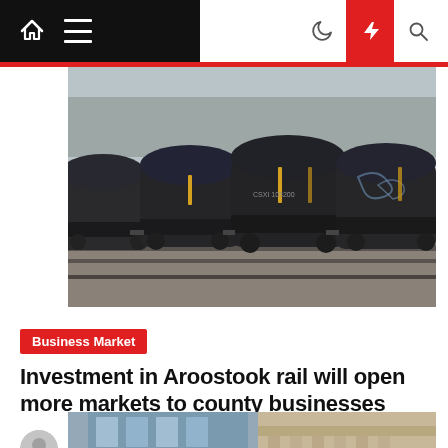Navigation bar with home, menu, dark mode, breaking news, and search icons
[Figure (photo): Railroad tank cars on freight tracks, dark cylindrical cars with graffiti, bare trees in background]
Business Market
Investment in Aroostook rail will open more markets to county businesses
Hanah Lopes  4 months ago
[Figure (photo): Urban buildings — modern glass skyscraper and classical stone building facade]